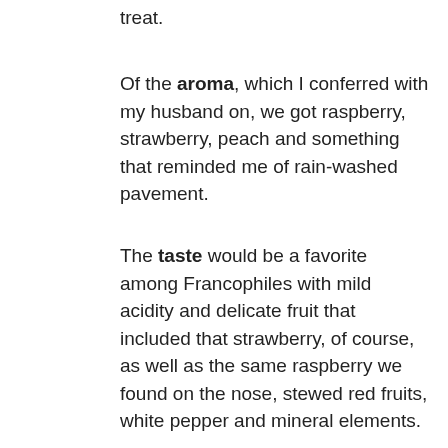treat.
Of the aroma, which I conferred with my husband on, we got raspberry, strawberry, peach and something that reminded me of rain-washed pavement.
The taste would be a favorite among Francophiles with mild acidity and delicate fruit that included that strawberry, of course, as well as the same raspberry we found on the nose, stewed red fruits, white pepper and mineral elements.
As we thoughtfully sipped the wine, on our front porch one of those hot evenings we enjoyed this past March, we thought how the colors of one of those red-glowing sunsets